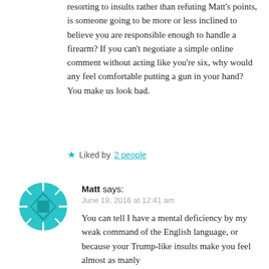resorting to insults rather than refuting Matt's points, is someone going to be more or less inclined to believe you are responsible enough to handle a firearm? If you can't negotiate a simple online comment without acting like you're six, why would any feel comfortable putting a gun in your hand? You make us look bad.
★ Liked by 2 people
[Figure (illustration): Teal/cyan geometric avatar icon with cross/diamond shape and radiating lines]
Matt says: June 18, 2016 at 12:41 am You can tell I have a mental deficiency by my weak command of the English language, or because your Trump-like insults make you feel almost as manly